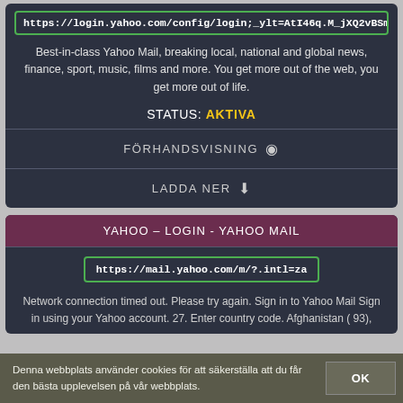https://login.yahoo.com/config/login;_ylt=AtI46q.M_jXQ2vBSmsjhpB.g
Best-in-class Yahoo Mail, breaking local, national and global news, finance, sport, music, films and more. You get more out of the web, you get more out of life.
STATUS: AKTIVA
FÖRHANDSVISNING
LADDA NER
YAHOO – LOGIN - YAHOO MAIL
https://mail.yahoo.com/m/?.intl=za
Network connection timed out. Please try again. Sign in to Yahoo Mail Sign in using your Yahoo account. 27. Enter country code. Afghanistan ( 93),
Denna webbplats använder cookies för att säkerställa att du får den bästa upplevelsen på vår webbplats.